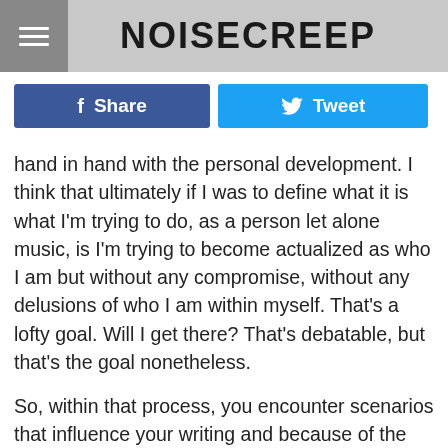NOISECREEP
Share
Tweet
hand in hand with the personal development. I think that ultimately if I was to define what it is what I'm trying to do, as a person let alone music, is I'm trying to become actualized as who I am but without any compromise, without any delusions of who I am within myself. That's a lofty goal. Will I get there? That's debatable, but that's the goal nonetheless.
So, within that process, you encounter scenarios that influence your writing and because of the success that I've to have up until this point and the number of people that I know within the scene and what have you, I know a ton of people. From time to time, those circumstances and those people